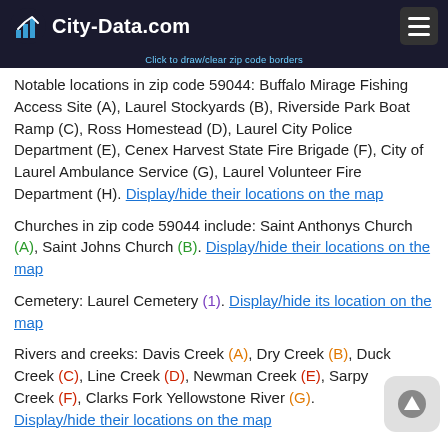City-Data.com
Click to draw/clear zip code borders
Notable locations in zip code 59044: Buffalo Mirage Fishing Access Site (A), Laurel Stockyards (B), Riverside Park Boat Ramp (C), Ross Homestead (D), Laurel City Police Department (E), Cenex Harvest State Fire Brigade (F), City of Laurel Ambulance Service (G), Laurel Volunteer Fire Department (H). Display/hide their locations on the map
Churches in zip code 59044 include: Saint Anthonys Church (A), Saint Johns Church (B). Display/hide their locations on the map
Cemetery: Laurel Cemetery (1). Display/hide its location on the map
Rivers and creeks: Davis Creek (A), Dry Creek (B), Duck Creek (C), Line Creek (D), Newman Creek (E), Sarpy Creek (F), Clarks Fork Yellowstone River (G). Display/hide their locations on the map